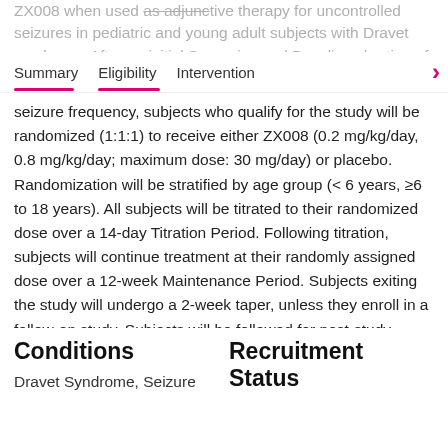ZX008 when used as adjunctive therapy for uncontrolled seizures in pediatric and young adult subjects with Dravet syndrome. After an initial Screening and Baseline charting of
Summary | Eligibility | Intervention
seizure frequency, subjects who qualify for the study will be randomized (1:1:1) to receive either ZX008 (0.2 mg/kg/day, 0.8 mg/kg/day; maximum dose: 30 mg/day) or placebo. Randomization will be stratified by age group (< 6 years, ≥6 to 18 years). All subjects will be titrated to their randomized dose over a 14-day Titration Period. Following titration, subjects will continue treatment at their randomly assigned dose over a 12-week Maintenance Period. Subjects exiting the study will undergo a 2-week taper, unless they enroll in a follow-on study. Subjects will be followed for post-study safety monitoring. Parents/caregivers will use a diary daily to record the number/type of seizures, dosing, and use of rescue medication.
Conditions
Dravet Syndrome, Seizure
Recruitment Status